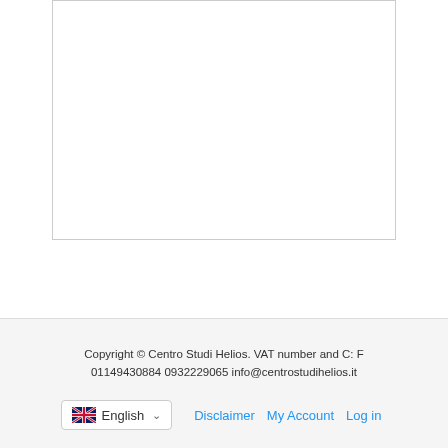[Figure (screenshot): Empty textarea input box with border]
Send
Share / Share
[Figure (infographic): Social sharing icons: Facebook, WhatsApp, Twitter, Skype, and a copy/share icon, with a blue link bar]
Copyright © Centro Studi Helios. VAT number and C: F 01149430884 0932229065 info@centrostudihelios.it
English  Disclaimer  My Account  Log in